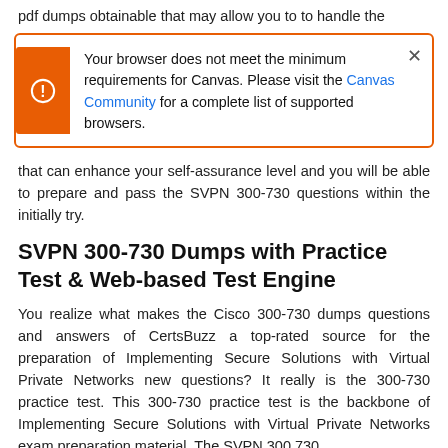pdf dumps obtainable that may allow you to to handle the
[Figure (screenshot): Browser alert box with orange left bar and warning icon. Text reads: 'Your browser does not meet the minimum requirements for Canvas. Please visit the Canvas Community for a complete list of supported browsers.' with a close X button.]
that can enhance your self-assurance level and you will be able to prepare and pass the SVPN 300-730 questions within the initially try.
SVPN 300-730 Dumps with Practice Test & Web-based Test Engine
You realize what makes the Cisco 300-730 dumps questions and answers of CertsBuzz a top-rated source for the preparation of Implementing Secure Solutions with Virtual Private Networks new questions? It really is the 300-730 practice test. This 300-730 practice test is the backbone of Implementing Secure Solutions with Virtual Private Networks exam preparation material. The SVPN 300 730